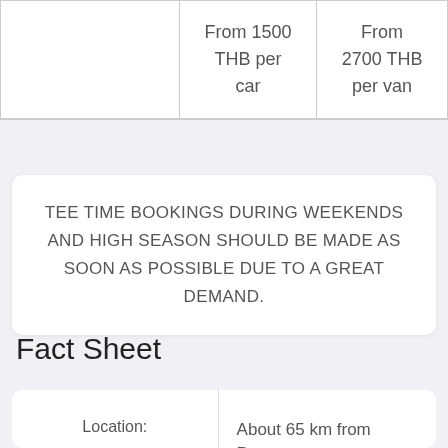|  | Car | Van |
| --- | --- | --- |
|  | From 1500 THB per car | From 2700 THB per van |
TEE TIME BOOKINGS DURING WEEKENDS AND HIGH SEASON SHOULD BE MADE AS SOON AS POSSIBLE DUE TO A GREAT DEMAND.
Fact Sheet
| Location: | About 65 km from ... |
| --- | --- |
| Location: | About 65 km from ... |